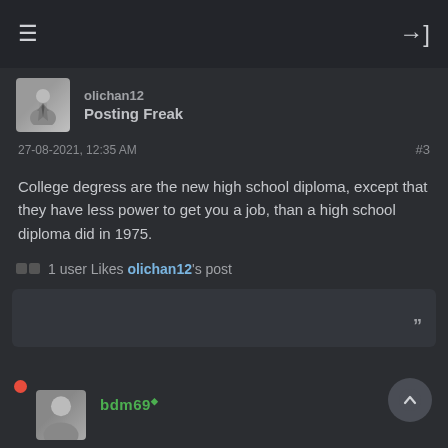≡  →]
olichan12
Posting Freak
27-08-2021, 12:35 AM  #3
College degress are the new high school diploma, except that they have less power to get you a job, than a high school diploma did in 1975.
1 user Likes olichan12's post
bdm69